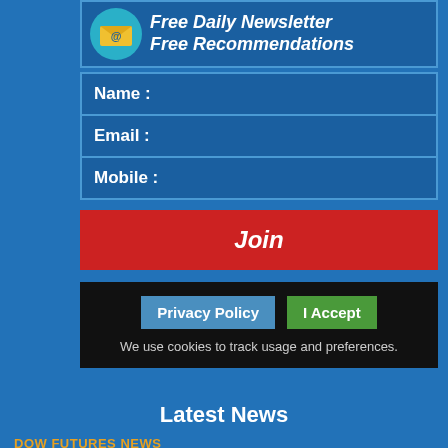[Figure (infographic): Email newsletter sign-up banner with envelope icon and text: Free Daily Newsletter, Free Recommendations]
Name :
Email :
Mobile :
Join
Privacy Policy
I Accept
We use cookies to track usage and preferences.
Latest News
DOW FUTURES NEWS